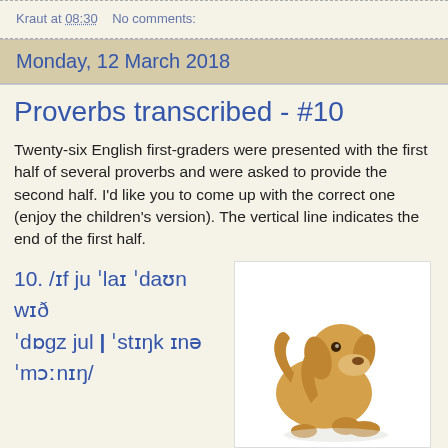Kraut at 08:30    No comments:
Monday, 12 March 2018
Proverbs transcribed - #10
Twenty-six English first-graders were presented with the first half of several proverbs and were asked to provide the second half. I'd like you to come up with the correct one (enjoy the children's version). The vertical line indicates the end of the first half.
10. /ɪf ju ˈlaɪ ˈdaʊn wɪð ˈdɒgz jul | ˈstɪŋk ɪnə ˈmɔːnɪŋ/
[Figure (photo): A golden/yellow puppy dog sitting and scratching itself on a white background]